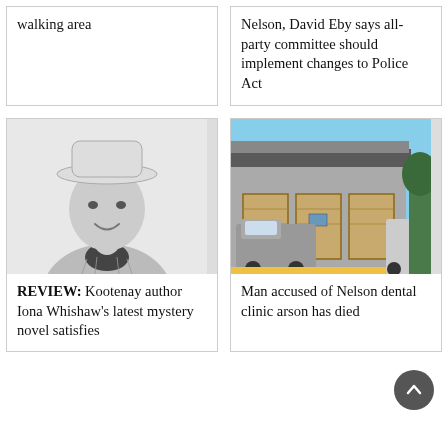walking area
Nelson, David Eby says all-party committee should implement changes to Police Act
[Figure (photo): Black and white portrait photo of a man wearing a hat and a checked shirt, smiling]
REVIEW: Kootenay author Iona Whishaw's latest mystery novel satisfies
[Figure (photo): Colour photo of a commercial building with boarded-up doors and a truck parked outside]
Man accused of Nelson dental clinic arson has died